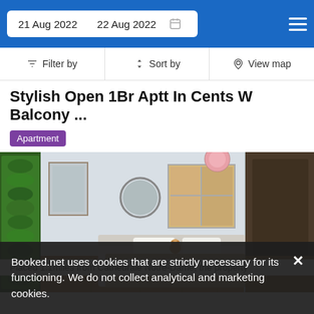21 Aug 2022  22 Aug 2022
Filter by  Sort by  View map
Stylish Open 1Br Aptt In Cents W Balcony ...
Apartment
[Figure (photo): Interior photo of a stylish modern bedroom with a white bed, decorative pendant chandelier, round mirror, window with city view, vertical green plant wall on left, and dark accent wall on right with parquet flooring.]
Booked.net uses cookies that are strictly necessary for its functioning. We do not collect analytical and marketing cookies.
Placed 1.1miles from Cathedrale Notre-Dame, the property